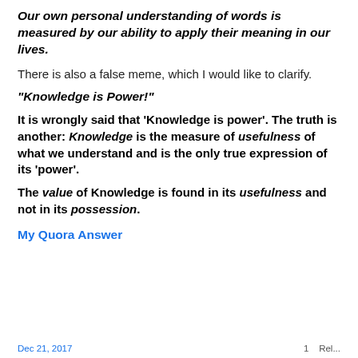Our own personal understanding of words is measured by our ability to apply their meaning in our lives.
There is also a false meme, which I would like to clarify.
“Knowledge is Power!”
It is wrongly said that ‘Knowledge is power’. The truth is another: Knowledge is the measure of usefulness of what we understand and is the only true expression of its ‘power’.
The value of Knowledge is found in its usefulness and not in its possession.
My Quora Answer
Dec 21, 2017